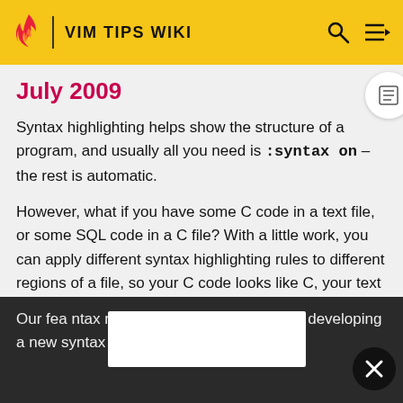VIM TIPS WIKI
July 2009
Syntax highlighting helps show the structure of a program, and usually all you need is :syntax on – the rest is automatic.
However, what if you have some C code in a text file, or some SQL code in a C file? With a little work, you can apply different syntax highlighting rules to different regions of a file, so your C code looks like C, your text looks like text, and your SQL code looks like SQL.
Our fea[...] ntax regions[...] even as a guide when developing a new syntax plugin!